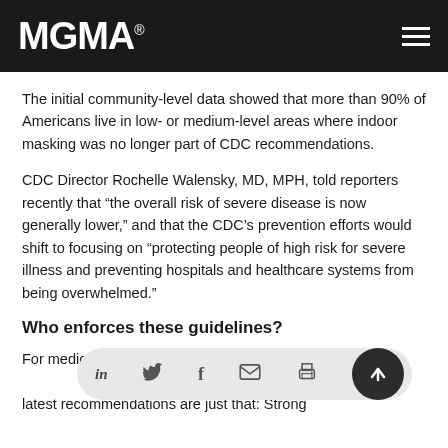MGMA
The initial community-level data showed that more than 90% of Americans live in low- or medium-level areas where indoor masking was no longer part of CDC recommendations.
CDC Director Rochelle Walensky, MD, MPH, told reporters recently that “the overall risk of severe disease is now generally lower,” and that the CDC’s prevention efforts would shift to focusing on “protecting people of high risk for severe illness and preventing hospitals and healthcare systems from being overwhelmed.”
Who enforces these guidelines?
For medical gro... guidelines, it’s i... latest recommendations are just that: Strong